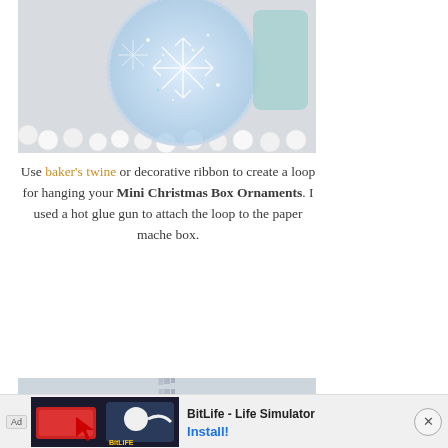[Figure (photo): Close-up photo of a glittery circular Christmas ornament with snowflake design on a light blue background, surrounded by white pearl balls]
Use baker's twine or decorative ribbon to create a loop for hanging your Mini Christmas Box Ornaments. I used a hot glue gun to attach the loop to the paper mache box.
[Figure (photo): Photo showing striped baker's twine or ribbon on a light gray background]
[Figure (other): Advertisement banner: BitLife - Life Simulator app ad with Install button]